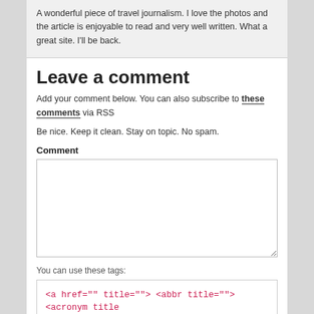A wonderful piece of travel journalism. I love the photos and the article is enjoyable to read and very well written. What a great site. I'll be back.
Leave a comment
Add your comment below. You can also subscribe to these comments via RSS
Be nice. Keep it clean. Stay on topic. No spam.
Comment
You can use these tags:
<a href="" title=""> <abbr title=""> <acronym title